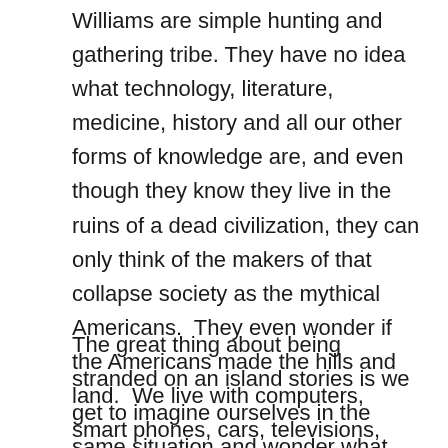Williams are simple hunting and gathering tribe. They have no idea what technology, literature, medicine, history and all our other forms of knowledge are, and even though they know they live in the ruins of a dead civilization, they can only think of the makers of that collapse society as the mythical Americans.  They even wonder if the Americans made the hills and land.  We live with computers, smart phones, cars, televisions, electricity, and so much other technology that we are defined by it.  Earth Abides shows us what it would be like to exist without machines.  Can you imagine such a life?
The great thing about being stranded on an island stories is we get to imagine ourselves in the same situation and wonder what we'd do.  It's like the TV show Lost where one of the greatest...